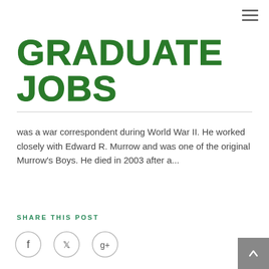[Figure (logo): Graduate Jobs logo in large green brush-style text]
was a war correspondent during World War II. He worked closely with Edward R. Murrow and was one of the original Murrow's Boys. He died in 2003 after a...
SHARE THIS POST
[Figure (infographic): Social share icons: Facebook, Twitter, Google+]
[Figure (other): Back to top button with upward arrow]